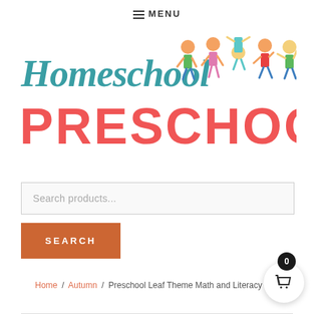≡ MENU
[Figure (logo): Homeschool Preschool logo with teal cursive 'Homeschool' text, red bold 'PRESCHOOL' text, and cartoon children illustrations on the right]
Search products...
SEARCH
Home / Autumn / Preschool Leaf Theme Math and Literacy Fun